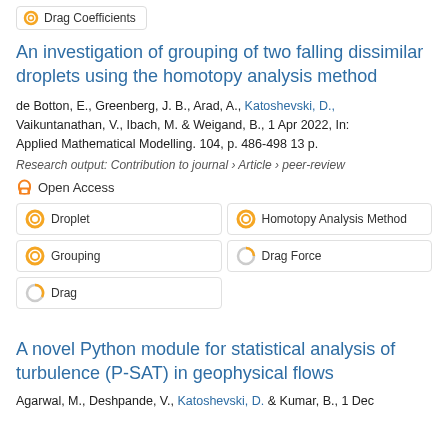Drag Coefficients
An investigation of grouping of two falling dissimilar droplets using the homotopy analysis method
de Botton, E., Greenberg, J. B., Arad, A., Katoshevski, D., Vaikuntanathan, V., Ibach, M. & Weigand, B., 1 Apr 2022, In: Applied Mathematical Modelling. 104, p. 486-498 13 p.
Research output: Contribution to journal › Article › peer-review
Open Access
Droplet
Homotopy Analysis Method
Grouping
Drag Force
Drag
A novel Python module for statistical analysis of turbulence (P-SAT) in geophysical flows
Agarwal, M., Deshpande, V., Katoshevski, D. & Kumar, B., 1 Dec